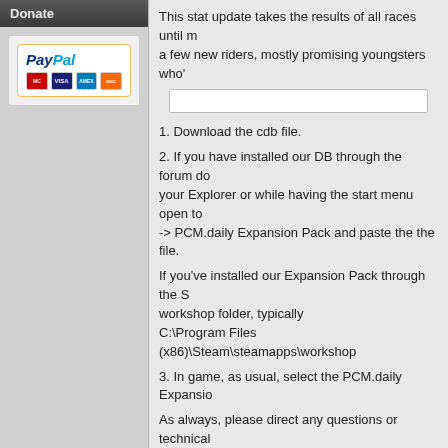Donate
[Figure (logo): PayPal donation button with credit card logos: MasterCard, VISA, American Express, Discover]
This stat update takes the results of all races until m... a few new riders, mostly promising youngsters who'...
1. Download the cdb file.
2. If you have installed our DB through the forum do... your Explorer or while having the start menu open to... -> PCM.daily Expansion Pack and paste the the file.
If you've installed our Expansion Pack through the S... workshop folder, typically C:\Program Files (x86)\Steam\steamapps\workshop...
3. In game, as usual, select the PCM.daily Expansio...
As always, please direct any questions or technical ...
Votes
[Figure (bar-chart): Votes]
Comments